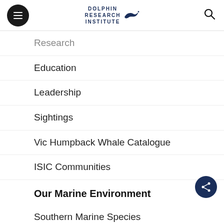DOLPHIN RESEARCH INSTITUTE
Research
Education
Leadership
Sightings
Vic Humpback Whale Catalogue
ISIC Communities
Our Marine Environment
Southern Marine Species
Regional Marine Environ.
Coastal Management